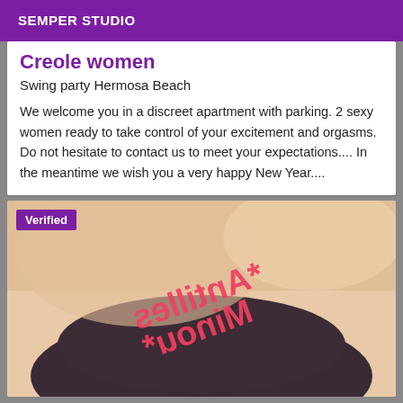SEMPER STUDIO
Creole women
Swing party Hermosa Beach
We welcome you in a discreet apartment with parking. 2 sexy women ready to take control of your excitement and orgasms. Do not hesitate to contact us to meet your expectations.... In the meantime we wish you a very happy New Year....
[Figure (photo): Close-up photo of a person wearing dark underwear, with mirrored pink text reading '*Minou Antilles*' overlaid on the image. A purple 'Verified' badge appears in the top-left corner.]